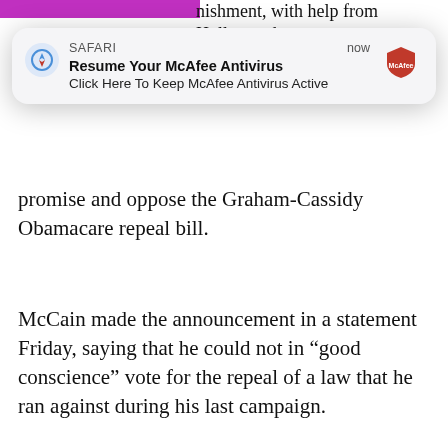nishment, with help from Hollywood,
promise and oppose the Graham-Cassidy Obamacare repeal bill.
McCain made the announcement in a statement Friday, saying that he could not in “good conscience” vote for the repeal of a law that he ran against during his last campaign.
YOU MAY LIKE
[Figure (screenshot): Safari browser notification popup: 'Resume Your McAfee Antivirus' / 'Click Here To Keep McAfee Antivirus Active' with McAfee logo, labeled 'now']
[Figure (screenshot): Ad popup overlay with photo of Willie Nelson and text 'A Tragic End Today For Willie Nelson' / 'Breaking News']